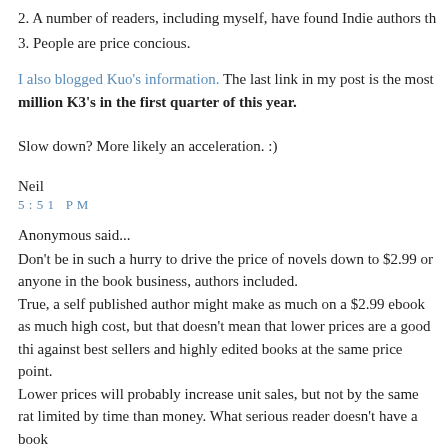2. A number of readers, including myself, have found Indie authors th
3. People are price concious.
I also blogged Kuo's information. The last link in my post is the most million K3's in the first quarter of this year.
Slow down? More likely an acceleration. :)
Neil
5:51 PM
Anonymous said...
Don't be in such a hurry to drive the price of novels down to $2.99 or anyone in the book business, authors included.
True, a self published author might make as much on a $2.99 ebook as much high cost, but that doesn't mean that lower prices are a good thi against best sellers and highly edited books at the same price point.
Lower prices will probably increase unit sales, but not by the same rat limited by time than money. What serious reader doesn't have a book
This unequal ratio means that the publishing business will have less $ than it did 15 years ago. This is bad. Less money to go around. Sure a